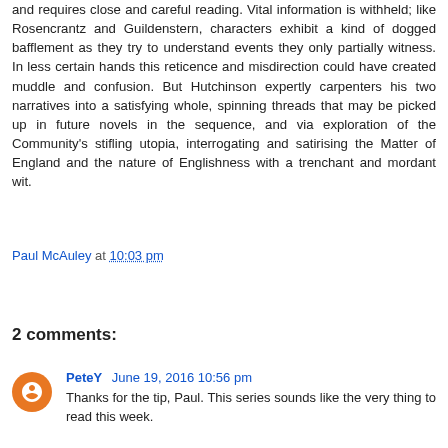and requires close and careful reading. Vital information is withheld; like Rosencrantz and Guildenstern, characters exhibit a kind of dogged bafflement as they try to understand events they only partially witness. In less certain hands this reticence and misdirection could have created muddle and confusion. But Hutchinson expertly carpenters his two narratives into a satisfying whole, spinning threads that may be picked up in future novels in the sequence, and via exploration of the Community's stifling utopia, interrogating and satirising the Matter of England and the nature of Englishness with a trenchant and mordant wit.
Paul McAuley at 10:03 pm
Share
2 comments:
PeteY June 19, 2016 10:56 pm
Thanks for the tip, Paul. This series sounds like the very thing to read this week.